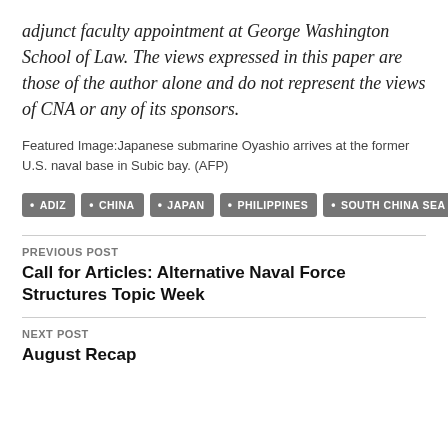adjunct faculty appointment at George Washington School of Law. The views expressed in this paper are those of the author alone and do not represent the views of CNA or any of its sponsors.
Featured Image: Japanese submarine Oyashio arrives at the former U.S. naval base in Subic bay. (AFP)
ADIZ
CHINA
JAPAN
PHILIPPINES
SOUTH CHINA SEA
PREVIOUS POST
Call for Articles: Alternative Naval Force Structures Topic Week
NEXT POST
August Recap